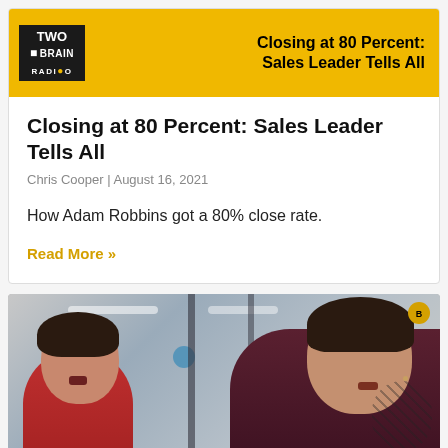[Figure (photo): Two Brain Radio podcast banner with yellow background, black logo box on left, bold title 'Closing at 80 Percent: Sales Leader Tells All' on right]
Closing at 80 Percent: Sales Leader Tells All
Chris Cooper | August 16, 2021
How Adam Robbins got a 80% close rate.
Read More »
[Figure (photo): Two women in a gym setting, one on the left in a red top looking up, another on the right with tattoos in a dark top, gym equipment visible in background]